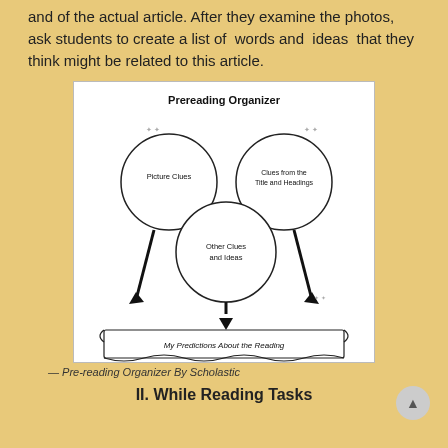and of the actual article. After they examine the photos, ask students to create a list of words and ideas that they think might be related to this article.
[Figure (other): Prereading Organizer graphic organizer with three circles labeled 'Picture Clues', 'Clues from the Title and Headings', and 'Other Clues and Ideas', all with arrows pointing down to a banner labeled 'My Predictions About the Reading'.]
— Pre-reading Organizer By Scholastic
II. While Reading Tasks